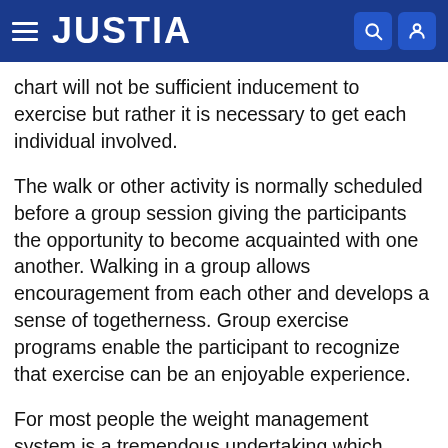JUSTIA
chart will not be sufficient inducement to exercise but rather it is necessary to get each individual involved.
The walk or other activity is normally scheduled before a group session giving the participants the opportunity to become acquainted with one another. Walking in a group allows encouragement from each other and develops a sense of togetherness. Group exercise programs enable the participant to recognize that exercise can be an enjoyable experience.
For most people the weight management system is a tremendous undertaking which requires support from the participant's family. It has been found that family counseling can be a major factor in the success of the program. When undertaking previous weight loss diets the participant may have received many unpleasant and